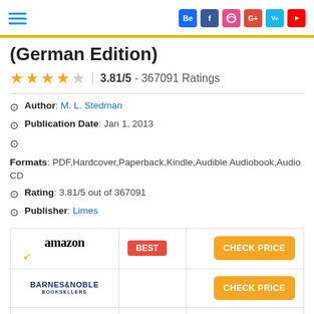Navigation and social icons: Behance, Facebook, Dribbble, Google+, Vimeo, YouTube
(German Edition)
3.81/5 - 367091 Ratings
Author: M. L. Stedman
Publication Date: Jan 1, 2013
Formats: PDF,Hardcover,Paperback,Kindle,Audible Audiobook,Audio CD
Rating: 3.81/5 out of 367091
Publisher: Limes
| Retailer | Badge | Action |
| --- | --- | --- |
| amazon | BEST | CHECK PRICE |
| BARNES & NOBLE BOOKSELLERS |  | CHECK PRICE |
|  |  | CHECK PRICE |